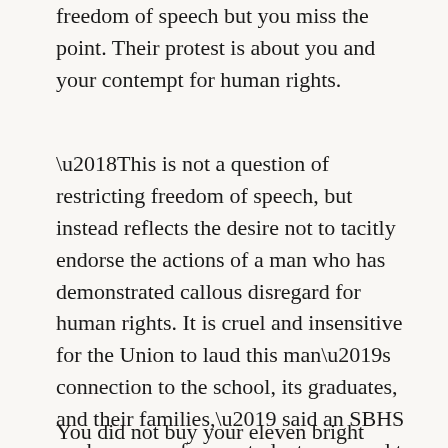freedom of speech but you miss the point. Their protest is about you and your contempt for human rights.
‘This is not a question of restricting freedom of speech, but instead reflects the desire not to tacitly endorse the actions of a man who has demonstrated callous disregard for human rights. It is cruel and insensitive for the Union to laud this man’s connection to the school, its graduates, and their families,’ said an SBHS spokesperson for ex-students opposed to Morrison’s visit.
You did not buy your eleven bright orange